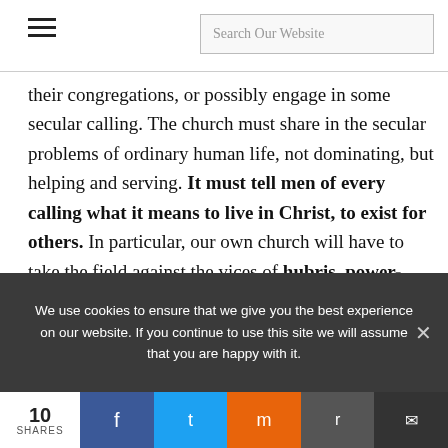[hamburger menu] Search Our Website
their congregations, or possibly engage in some secular calling. The church must share in the secular problems of ordinary human life, not dominating, but helping and serving. It must tell men of every calling what it means to live in Christ, to exist for others. In particular, our own church will have to take the field against the vices of hubris, power-worship, envy, and humbug, as the roots of all evil. It will have to speak of moderation,
We use cookies to ensure that we give you the best experience on our website. If you continue to use this site we will assume that you are happy with it.
10 SHARES [Facebook] [Twitter] [Mix] [Reddit] [Email]